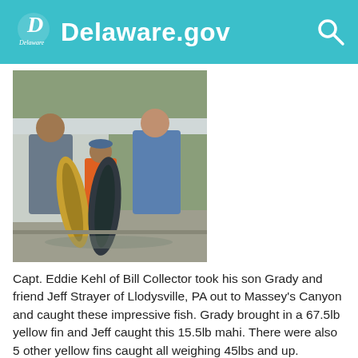Delaware.gov
[Figure (photo): Two adults and a child standing and holding two large fish (yellowfin tuna and mahi mahi) in front of a boat at a marina dock.]
Capt. Eddie Kehl of Bill Collector took his son Grady and friend Jeff Strayer of Llodysville, PA out to Massey's Canyon and caught these impressive fish. Grady brought in a 67.5lb yellow fin and Jeff caught this 15.5lb mahi. There were also 5 other yellow fins caught all weighing 45lbs and up.
[Figure (photo): Partial view of another fishing photo at the bottom of the page.]